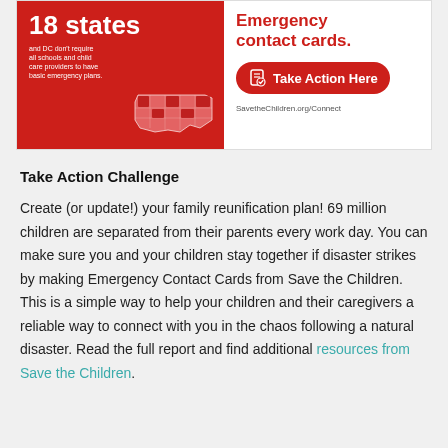[Figure (infographic): Two-panel infographic. Left panel (red background): '18 states and DC don't require all schools and child care providers to have basic emergency plans.' with a US map illustration. Right panel (white background): 'Emergency contact cards.' with a red 'Take Action Here' button and URL SavetheChildren.org/Connect.]
Take Action Challenge
Create (or update!) your family reunification plan! 69 million children are separated from their parents every work day. You can make sure you and your children stay together if disaster strikes by making Emergency Contact Cards from Save the Children. This is a simple way to help your children and their caregivers a reliable way to connect with you in the chaos following a natural disaster. Read the full report and find additional resources from Save the Children.